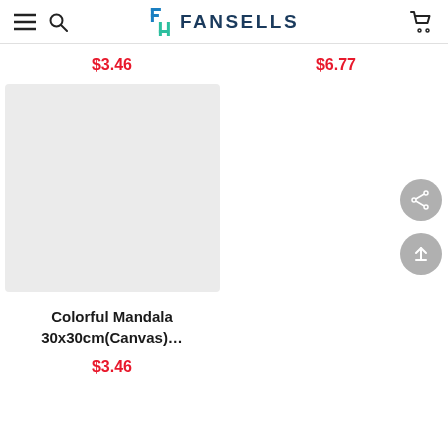FANSELLS
$3.46
$6.77
[Figure (photo): Product image placeholder — light gray square for Colorful Mandala 30x30cm Canvas product]
Colorful Mandala 30x30cm(Canvas)…
$3.46